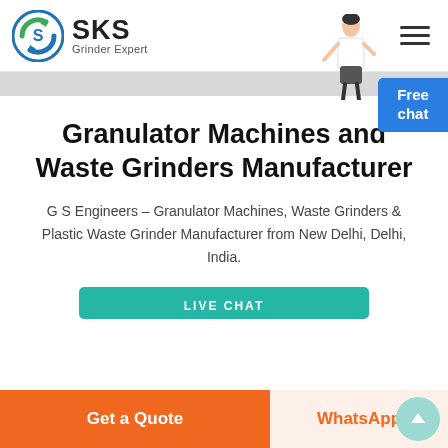[Figure (logo): SKS Grinder Expert logo — circular icon with blue/green arrows and letter S, beside bold text 'SKS' and subtitle 'Grinder Expert']
Granulator Machines and Waste Grinders Manufacturer
G S Engineers – Granulator Machines, Waste Grinders & Plastic Waste Grinder Manufacturer from New Delhi, Delhi, India.
LIVE CHAT
Get a Quote
WhatsApp